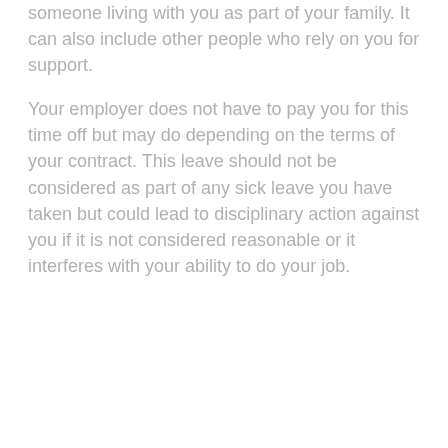someone living with you as part of your family. It can also include other people who rely on you for support.
Your employer does not have to pay you for this time off but may do depending on the terms of your contract. This leave should not be considered as part of any sick leave you have taken but could lead to disciplinary action against you if it is not considered reasonable or it interferes with your ability to do your job.